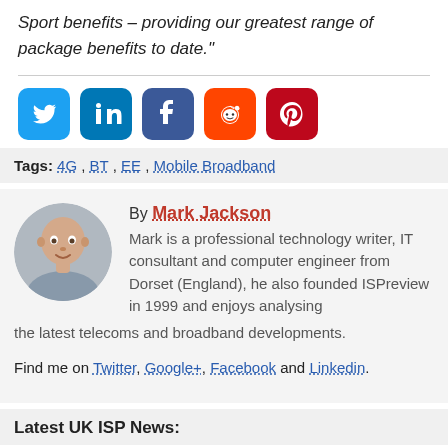Sport benefits – providing our greatest range of package benefits to date."
[Figure (infographic): Row of 5 social media share icons: Twitter (blue bird), LinkedIn (blue 'in'), Facebook (dark blue 'f'), Reddit (orange alien), Pinterest (red 'P')]
Tags: 4G , BT , EE , Mobile Broadband
By Mark Jackson
Mark is a professional technology writer, IT consultant and computer engineer from Dorset (England), he also founded ISPreview in 1999 and enjoys analysing the latest telecoms and broadband developments. Find me on Twitter, Google+, Facebook and Linkedin.
Latest UK ISP News: